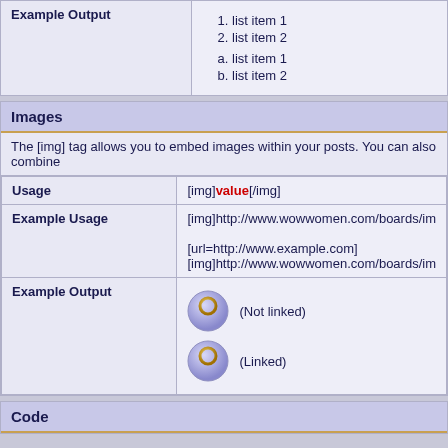| Example Output |  |
| --- | --- |
| Example Output | 1. list item 1
2. list item 2
a. list item 1
b. list item 2 |
Images
The [img] tag allows you to embed images within your posts. You can also combine
| Usage | Example Usage | Example Output |
| --- | --- | --- |
| Usage | [img]value[/img] |
| Example Usage | [img]http://www.wowwomen.com/boards/im

[url=http://www.example.com]
[img]http://www.wowwomen.com/boards/im |
| Example Output | (Not linked)
(Linked) |
Code